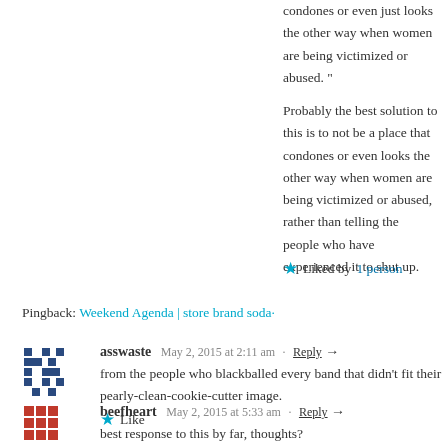condones or even just looks the other way when women are being victimized or abused. "
Probably the best solution to this is to not be a place that condones or even looks the other way when women are being victimized or abused, rather than telling the people who have experienced it to shut up.
★ Liked by 1 person
Pingback: Weekend Agenda | store brand soda·
asswaste   May 2, 2015 at 2:11 am · Reply →
from the people who blackballed every band that didn't fit their pearly-clean-cookie-cutter image.
★ Like
beefheart   May 2, 2015 at 5:33 am · Reply →
best response to this by far, thoughts?